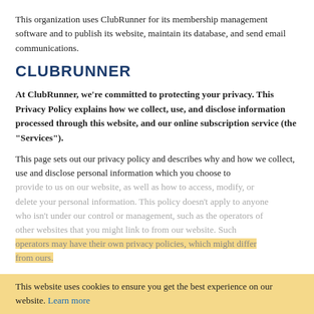This organization uses ClubRunner for its membership management software and to publish its website, maintain its database, and send email communications.
CLUBRUNNER
At ClubRunner, we're committed to protecting your privacy. This Privacy Policy explains how we collect, use, and disclose information processed through this website, and our online subscription service (the "Services").
This page sets out our privacy policy and describes why and how we collect, use and disclose personal information which you choose to provide to us on our website, as well as how to access, modify, or delete your personal information. This policy doesn't apply to anyone who isn't under our control or management, such as the operators of other websites that you might link to from our website. Such operators may have their own privacy policies, which might differ from ours.
This website uses cookies to ensure you get the best experience on our website. Learn more